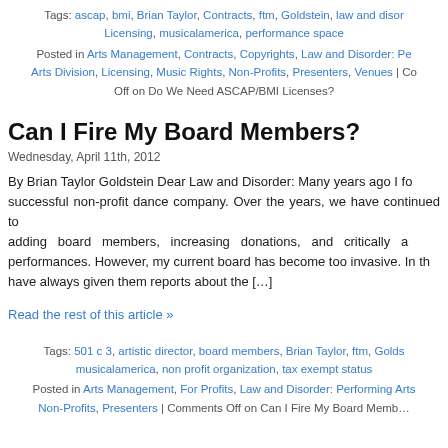Tags: ascap, bmi, Brian Taylor, Contracts, ftm, Goldstein, law and disorder, Licensing, musicalamerica, performance space
Posted in Arts Management, Contracts, Copyrights, Law and Disorder: Performing Arts Division, Licensing, Music Rights, Non-Profits, Presenters, Venues | Comments Off on Do We Need ASCAP/BMI Licenses?
Can I Fire My Board Members?
Wednesday, April 11th, 2012
By Brian Taylor Goldstein Dear Law and Disorder: Many years ago I founded a successful non-profit dance company. Over the years, we have continued to grow, adding board members, increasing donations, and critically attracting performances. However, my current board has become too invasive. In the past I have always given them reports about the [...]
Read the rest of this article »
Tags: 501 c 3, artistic director, board members, Brian Taylor, ftm, Goldstein, musicalamerica, non profit organization, tax exempt status
Posted in Arts Management, For Profits, Law and Disorder: Performing Arts, Non-Profits, Presenters | Comments Off on Can I Fire My Board Members?
Is It Dangerous to Cross Over Too Soon?
Thursday, March 29th, 2012
By: Edna Landau. To ask a question, please write Ask Edna. Dear Edna...